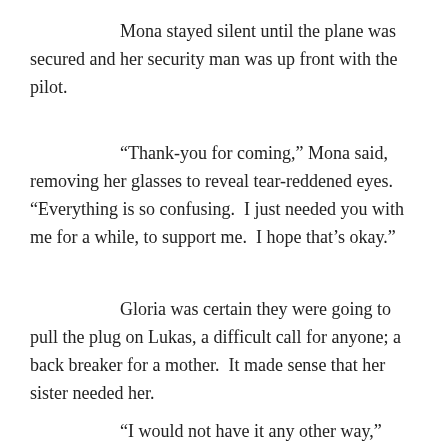Mona stayed silent until the plane was secured and her security man was up front with the pilot.
“Thank-you for coming,” Mona said, removing her glasses to reveal tear-reddened eyes. “Everything is so confusing. I just needed you with me for a while, to support me. I hope that’s okay.”
Gloria was certain they were going to pull the plug on Lukas, a difficult call for anyone; a back breaker for a mother. It made sense that her sister needed her.
“I would not have it any other way,” Gloria